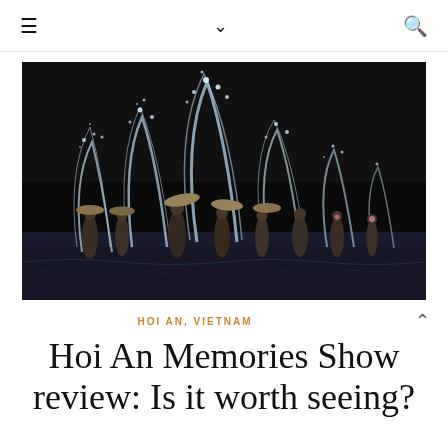≡ ∨ 🔍
[Figure (photo): Performers in a water-based night show at Hoi An Memories, splashing water upward in dramatic arcs, wearing conical hats, against a dark background]
HOI AN, VIETNAM
Hoi An Memories Show review: Is it worth seeing?